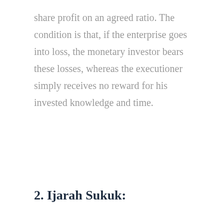share profit on an agreed ratio. The condition is that, if the enterprise goes into loss, the monetary investor bears these losses, whereas the executioner simply receives no reward for his invested knowledge and time.
2. Ijarah Sukuk: